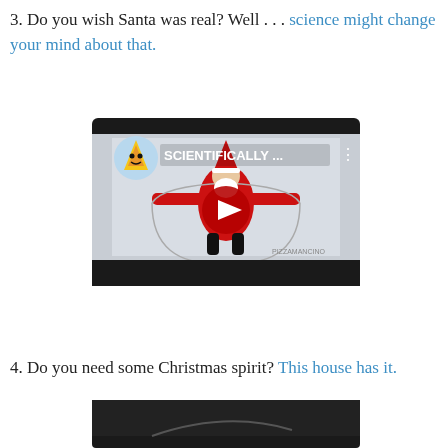3. Do you wish Santa was real? Well . . . science might change your mind about that.
[Figure (screenshot): YouTube video thumbnail showing a cartoon Santa Claus in a Vitruvian Man pose with arms and legs outstretched. A pizza-themed YouTube channel icon is visible in the top left. The title reads 'SCIENTIFICALLY ...' A large red YouTube play button is centered on the video.]
4. Do you need some Christmas spirit? This house has it.
[Figure (screenshot): Partial YouTube video thumbnail at the bottom of the page, showing the beginning of another video.]